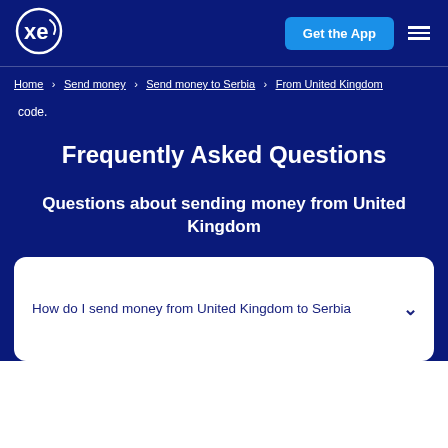xe | Get the App | menu
Home > Send money > Send money to Serbia > From United Kingdom
code.
Frequently Asked Questions
Questions about sending money from United Kingdom
How do I send money from United Kingdom to Serbia